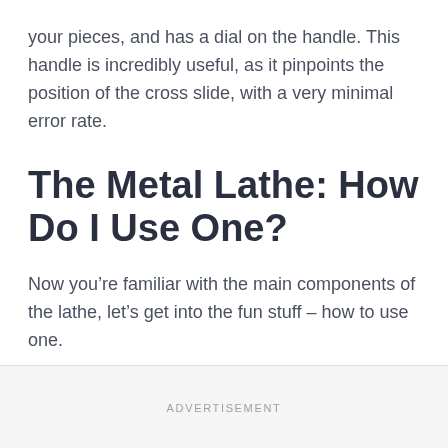your pieces, and has a dial on the handle. This handle is incredibly useful, as it pinpoints the position of the cross slide, with a very minimal error rate.
The Metal Lathe: How Do I Use One?
Now you’re familiar with the main components of the lathe, let’s get into the fun stuff – how to use one.
ADVERTISEMENT